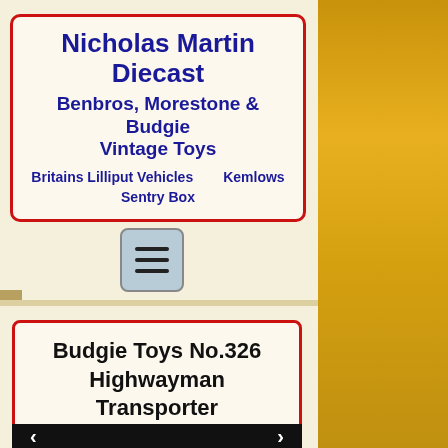Nicholas Martin Diecast Benbros, Morestone & Budgie Vintage Toys
Britains Lilliput Vehicles    Kemlows    Sentry Box
[Figure (screenshot): Hamburger menu icon button with three horizontal lines on a light blue-grey rounded square background]
Budgie Toys No.326 Highwayman Transporter
[Figure (photo): Black image area with white left and right navigation arrows, partial view of product image section]
[Figure (photo): Right side panel showing vintage toy boxes in yellow packaging, diecast vehicles visible]